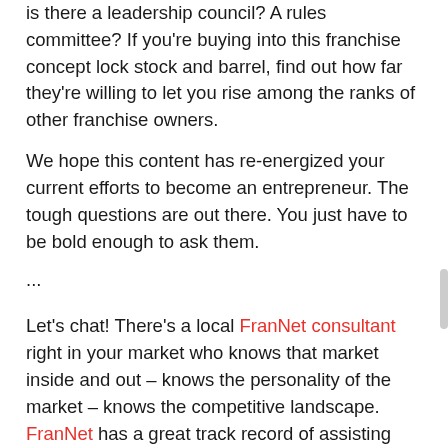is there a leadership council? A rules committee? If you're buying into this franchise concept lock stock and barrel, find out how far they're willing to let you rise among the ranks of other franchise owners.
We hope this content has re-energized your current efforts to become an entrepreneur. The tough questions are out there. You just have to be bold enough to ask them.
...
Let's chat! There's a local FranNet consultant right in your market who knows that market inside and out – knows the personality of the market – knows the competitive landscape. FranNet has a great track record of assisting individuals on their path to entrepreneurship, and one of our franchise experts